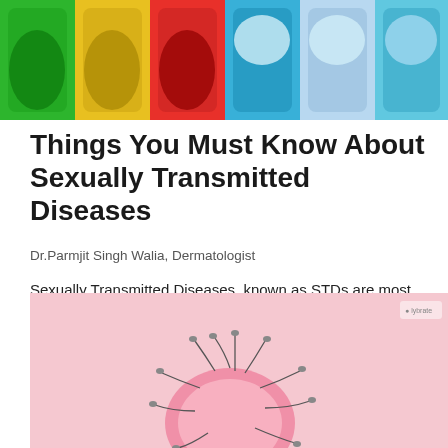[Figure (photo): Colorful condom packages arranged in a grid pattern, showing various bright colors including green, red, blue, yellow, and orange]
Things You Must Know About Sexually Transmitted Diseases
Dr.Parmjit Singh Walia, Dermatologist
Sexually Transmitted Diseases, known as STDs are most often, but not exclusively, spread via sexual intercourse. They are one of the ...
♡ 109
[Figure (illustration): Medical illustration on pink background showing sperm cells surrounding an egg cell, with a small logo in the top right corner]